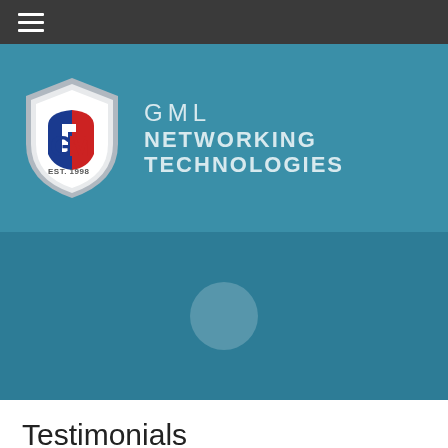[Figure (logo): GML Networking Technologies logo with shield icon and company name on teal background with dark navigation bar]
Testimonials
“The DS Group: We are pleased to